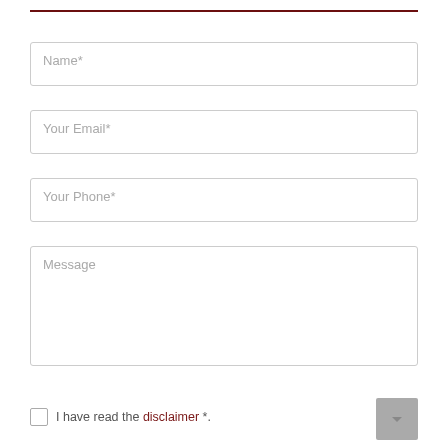[Figure (other): Thin dark red horizontal rule at top of page]
Name*
Your Email*
Your Phone*
Message
I have read the disclaimer *.